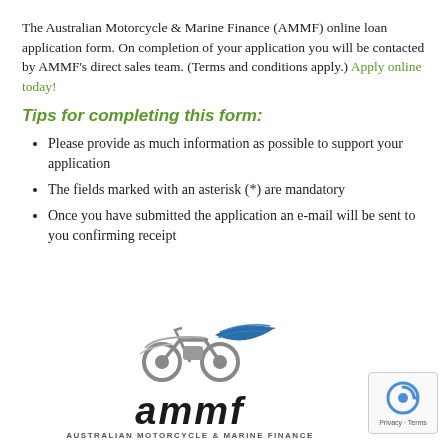The Australian Motorcycle & Marine Finance (AMMF) online loan application form. On completion of your application you will be contacted by AMMF's direct sales team. (Terms and conditions apply.) Apply online today!
Tips for completing this form:
Please provide as much information as possible to support your application
The fields marked with an asterisk (*) are mandatory
Once you have submitted the application an e-mail will be sent to you confirming receipt
[Figure (logo): AMMF Australian Motorcycle & Marine Finance logo with motorcycle and boat silhouette graphic above stylized italic 'ammf' wordmark and full company name below]